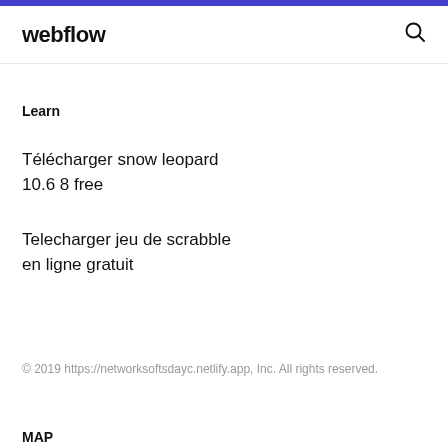webflow
Learn
Télécharger snow leopard 10.6 8 free
Telecharger jeu de scrabble en ligne gratuit
© 2019 https://networksoftsdayc.netlify.app, Inc. All rights reserved.
MAP